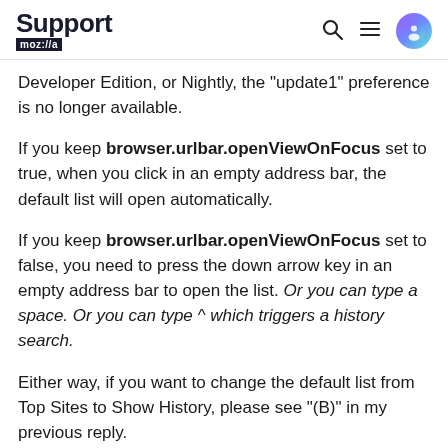Support moz://a
Developer Edition, or Nightly, the "update1" preference is no longer available.
If you keep browser.urlbar.openViewOnFocus set to true, when you click in an empty address bar, the default list will open automatically.
If you keep browser.urlbar.openViewOnFocus set to false, you need to press the down arrow key in an empty address bar to open the list. Or you can type a space. Or you can type ^ which triggers a history search.
Either way, if you want to change the default list from Top Sites to Show History, please see "(B)" in my previous reply.